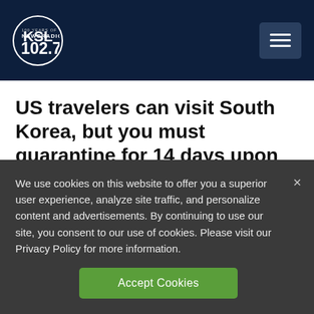[Figure (logo): KSL NewsRadio 102.7FM logo with hamburger menu button on dark navy header]
US travelers can visit South Korea, but you must quarantine for 14 days upon arrival.
According to the US Embassy & Consulate in the Republic of Korea, “Generally speaking,
We use cookies on this website to offer you a superior user experience, analyze site traffic, and personalize content and advertisements. By continuing to use our site, you consent to our use of cookies. Please visit our Privacy Policy for more information.